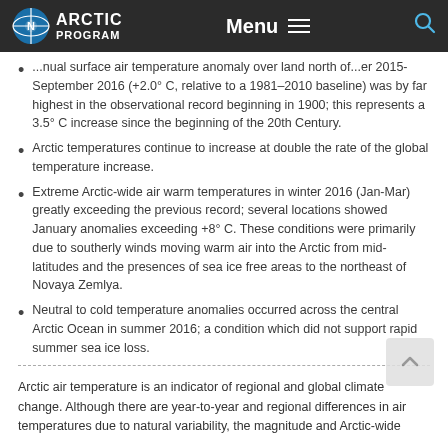ARCTIC PROGRAM | Menu
...annual surface air temperature anomaly over land north of...er 2015-September 2016 (+2.0° C, relative to a 1981–2010 baseline) was by far highest in the observational record beginning in 1900; this represents a 3.5° C increase since the beginning of the 20th Century.
Arctic temperatures continue to increase at double the rate of the global temperature increase.
Extreme Arctic-wide air warm temperatures in winter 2016 (Jan-Mar) greatly exceeding the previous record; several locations showed January anomalies exceeding +8° C. These conditions were primarily due to southerly winds moving warm air into the Arctic from mid-latitudes and the presences of sea ice free areas to the northeast of Novaya Zemlya.
Neutral to cold temperature anomalies occurred across the central Arctic Ocean in summer 2016; a condition which did not support rapid summer sea ice loss.
Arctic air temperature is an indicator of regional and global climate change. Although there are year-to-year and regional differences in air temperatures due to natural variability, the magnitude and Arctic-wide